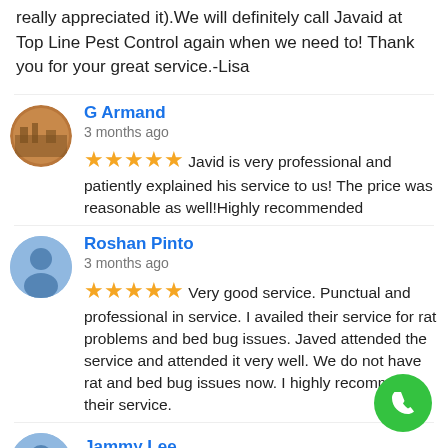really appreciated it).We will definitely call Javaid at Top Line Pest Control again when we need to! Thank you for your great service.-Lisa
G Armand
3 months ago
★★★★★ Javid is very professional and patiently explained his service to us! The price was reasonable as well!Highly recommended
Roshan Pinto
3 months ago
★★★★★ Very good service. Punctual and professional in service. I availed their service for rat problems and bed bug issues. Javed attended the service and attended it very well. We do not have rat and bed bug issues now. I highly recommend their service.
Jammy Lee